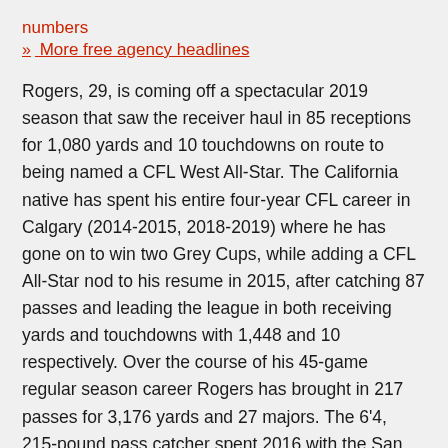numbers
» More free agency headlines
Rogers, 29, is coming off a spectacular 2019 season that saw the receiver haul in 85 receptions for 1,080 yards and 10 touchdowns on route to being named a CFL West All-Star. The California native has spent his entire four-year CFL career in Calgary (2014-2015, 2018-2019) where he has gone on to win two Grey Cups, while adding a CFL All-Star nod to his resume in 2015, after catching 87 passes and leading the league in both receiving yards and touchdowns with 1,448 and 10 respectively. Over the course of his 45-game regular season career Rogers has brought in 217 passes for 3,176 yards and 27 majors. The 6'4, 215-pound pass catcher spent 2016 with the San Francisco 49ers after breaking